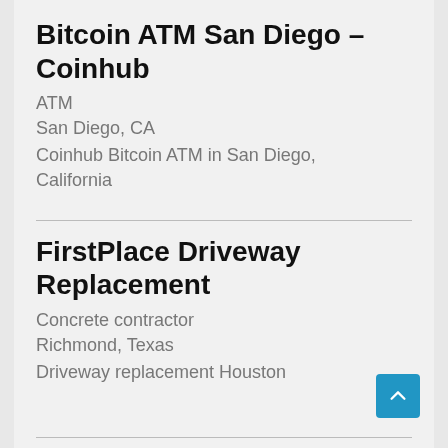Bitcoin ATM San Diego – Coinhub
ATM
San Diego, CA
Coinhub Bitcoin ATM in San Diego, California
FirstPlace Driveway Replacement
Concrete contractor
Richmond, Texas
Driveway replacement Houston